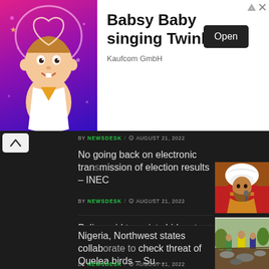[Figure (illustration): Advertisement banner: Baby cartoon character (Babsy Baby) singing, with title 'Babsy Baby singing Twinkle', publisher 'Kaufcom GmbH', and an Open button. Top-right has ad disclosure arrows.]
BY NEWSDESK / AUGUST 21, 2022
No going back on electronic transmission of election results – INEC
BY NEWSDESK / AUGUST 21, 2022
[Figure (photo): Photo of a man in white turban speaking into a microphone, wearing red and gold attire]
Police raid terrorists hideout killing informant in Katsina
BY NEWSDESK / AUGUST 21, 2022
[Figure (photo): Photo of a bearded man in a dark suit with red tie]
Nigeria, Northwest states collaborate to check threat of Quelea birds – Su
BY NEWSDESK / AUGUST 21, 2022
[Figure (photo): Photo of people working outdoors, possibly clearing debris or rubble]